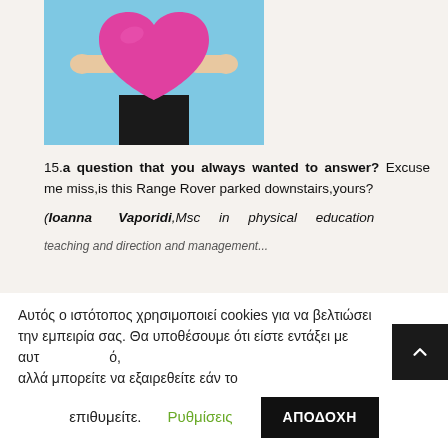[Figure (photo): Person holding a large pink/magenta heart shape in front of their body, light blue background, wearing black pants]
15.a question that you always wanted to answer? Excuse me miss,is this Range Rover parked downstairs,yours?
(Ioanna Vaporidi,Msc in physical education teaching and direction and management...
Αυτός ο ιστότοπος χρησιμοποιεί cookies για να βελτιώσει την εμπειρία σας. Θα υποθέσουμε ότι είστε εντάξει με αυτό, αλλά μπορείτε να εξαιρεθείτε εάν το επιθυμείτε. Ρυθμίσεις ΑΠΟΔΟΧΗ